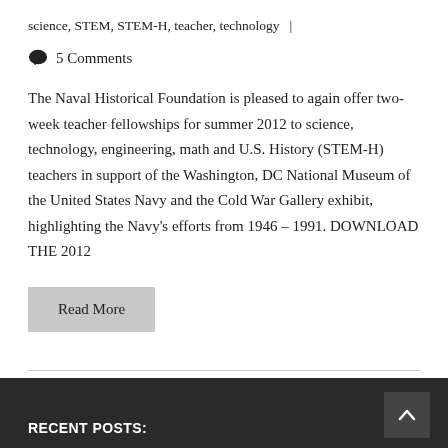science, STEM, STEM-H, teacher, technology  |
5 Comments
The Naval Historical Foundation is pleased to again offer two-week teacher fellowships for summer 2012 to science, technology, engineering, math and U.S. History (STEM-H) teachers in support of the Washington, DC National Museum of the United States Navy and the Cold War Gallery exhibit, highlighting the Navy's efforts from 1946 – 1991. DOWNLOAD THE 2012
Read More
RECENT POSTS: